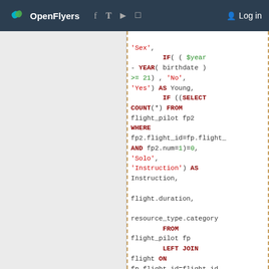OpenFlyers  Log in
[Figure (screenshot): SQL code snippet showing a SELECT query with IF conditions, COUNT subquery, LEFT JOINs on flight_pilot, flight, and person tables]
'Sex',
        IF( ( $year
- YEAR( birthdate )
>= 21) , 'No',
'Yes') AS Young,
        IF ((SELECT
COUNT(*) FROM
flight_pilot fp2
WHERE
fp2.flight_id=fp.flight_id
AND fp2.num=1)=0,
'Solo',
'Instruction') AS
Instruction,

flight.duration,

resource_type.category
        FROM
flight_pilot fp
        LEFT JOIN
flight ON
fp.flight_id=flight.id
        LEFT JOIN
person ON
person.id=fp.pilot_id
        LEFT JOIN